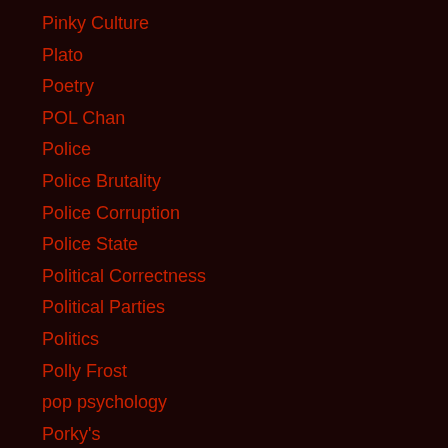Pinky Culture
Plato
Poetry
POL Chan
Police
Police Brutality
Police Corruption
Police State
Political Correctness
Political Parties
Politics
Polly Frost
pop psychology
Porky's
Pornography